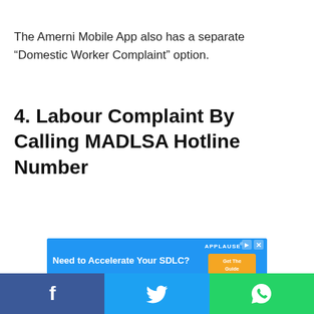The Amerni Mobile App also has a separate “Domestic Worker Complaint” option.
4. Labour Complaint By Calling MADLSA Hotline Number
[Figure (screenshot): Advertisement banner for Applause: 'Need to Accelerate Your SDLC? See why Agile testing is top of mind for development teams. Get The Guide']
[Figure (infographic): Social sharing bar with Facebook, Twitter, and WhatsApp icons]